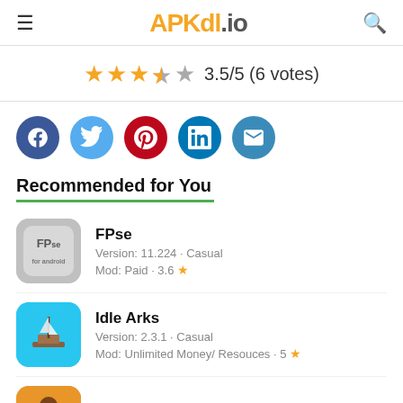APKdl.io
3.5/5 (6 votes)
[Figure (infographic): Social sharing icons: Facebook, Twitter, Pinterest, LinkedIn, Email]
Recommended for You
FPse
Version: 11.224 · Casual
Mod: Paid · 3.6
Idle Arks
Version: 2.3.1 · Casual
Mod: Unlimited Money/ Resouces · 5
Tuscany Villa